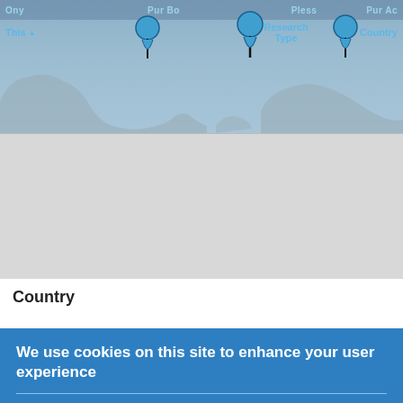[Figure (screenshot): Screenshot of a research database website showing a world map with location pins and column headers (Title, Research Type, Country). The top portion shows a stylized world map in blue-gray tones with three location pin icons. Below is a lighter gray area. The page shows a sortable table interface.]
Country
We use cookies on this site to enhance your user experience
By clicking any link on this page you are giving your consent for us to set cookies.
No, give me more info
OK, I agree